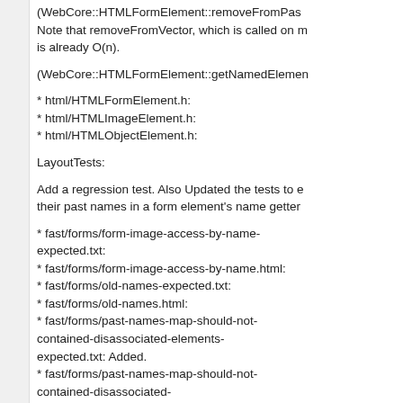(WebCore::HTMLFormElement::removeFromPast... Note that removeFromVector, which is called on m... is already O(n).
(WebCore::HTMLFormElement::getNamedElemen...
* html/HTMLFormElement.h:
* html/HTMLImageElement.h:
* html/HTMLObjectElement.h:
LayoutTests:
Add a regression test. Also Updated the tests to e... their past names in a form element's name getter ...
* fast/forms/form-image-access-by-name-expected.txt:
* fast/forms/form-image-access-by-name.html:
* fast/forms/old-names-expected.txt:
* fast/forms/old-names.html:
* fast/forms/past-names-map-should-not-contained-disassociated-elements-expected.txt: Added.
* fast/forms/past-names-map-should-not-contained-disassociated-elements.html: Added.
git-svn-id: https://svn.webkit.org/repository/webkit/trunk@ cd09-0410-ab3c-d52691b4dbfc